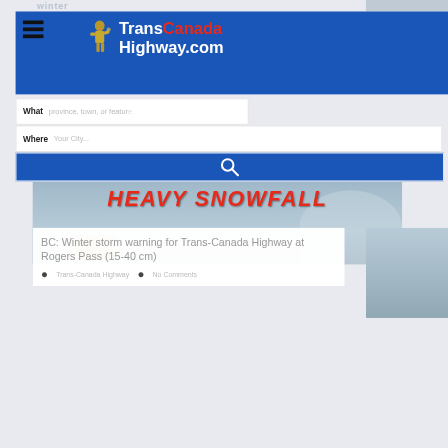winter
[Figure (logo): TransCanadaHighway.com website logo with gold figure statue and blue background, navigation hamburger menu]
What  province, town, or feature
Where  Your City...
[Figure (screenshot): Search button with magnifying glass icon on blue background]
[Figure (photo): Heavy snowfall warning banner with snowplow on Trans-Canada Highway in winter mountain conditions]
BC: Winter storm warning for Trans-Canada Highway at Rogers Pass (15-40 cm)
Trans-Canada Highway   No Comments